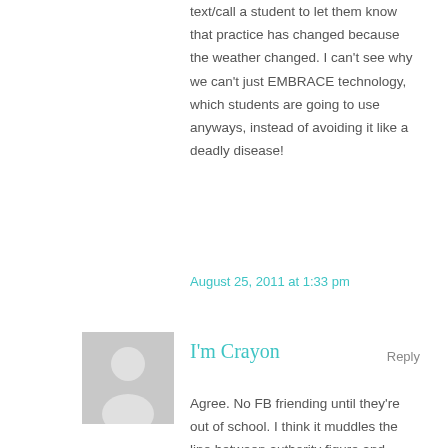text/call a student to let them know that practice has changed because the weather changed. I can't see why we can't just EMBRACE technology, which students are going to use anyways, instead of avoiding it like a deadly disease!
August 25, 2011 at 1:33 pm
[Figure (illustration): Gray placeholder avatar icon of a generic person silhouette]
I'm Crayon
Reply
Agree. No FB friending until they're out of school. I think it muddles the line between authority figure and student and